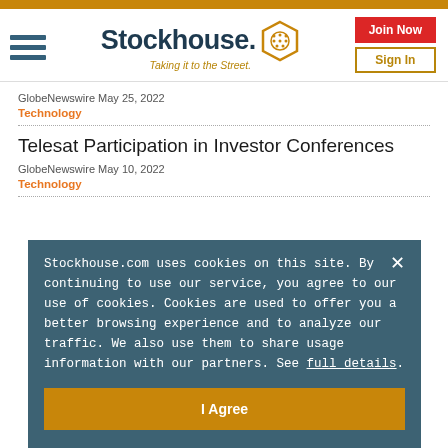Stockhouse - Taking it to the Street.
GlobeNewswire May 25, 2022
Technology
Telesat Participation in Investor Conferences
GlobeNewswire May 10, 2022
Technology
Stockhouse.com uses cookies on this site. By continuing to use our service, you agree to our use of cookies. Cookies are used to offer you a better browsing experience and to analyze our traffic. We also use them to share usage information with our partners. See full details.
I Agree